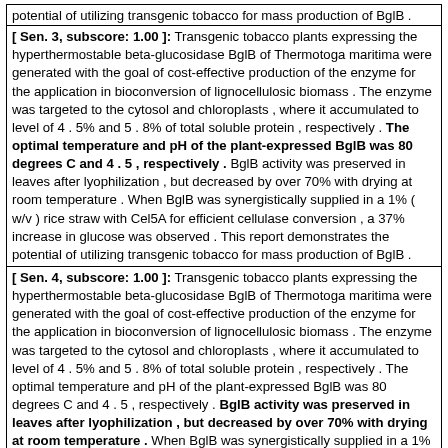potential of utilizing transgenic tobacco for mass production of BglB .
[ Sen. 3, subscore: 1.00 ]: Transgenic tobacco plants expressing the hyperthermostable beta-glucosidase BglB of Thermotoga maritima were generated with the goal of cost-effective production of the enzyme for the application in bioconversion of lignocellulosic biomass . The enzyme was targeted to the cytosol and chloroplasts , where it accumulated to level of 4 . 5% and 5 . 8% of total soluble protein , respectively . The optimal temperature and pH of the plant-expressed BglB was 80 degrees C and 4 . 5 , respectively . BglB activity was preserved in leaves after lyophilization , but decreased by over 70% with drying at room temperature . When BglB was synergistically supplied in a 1% ( w/v ) rice straw with Cel5A for efficient cellulase conversion , a 37% increase in glucose was observed . This report demonstrates the potential of utilizing transgenic tobacco for mass production of BglB .
[ Sen. 4, subscore: 1.00 ]: Transgenic tobacco plants expressing the hyperthermostable beta-glucosidase BglB of Thermotoga maritima were generated with the goal of cost-effective production of the enzyme for the application in bioconversion of lignocellulosic biomass . The enzyme was targeted to the cytosol and chloroplasts , where it accumulated to level of 4 . 5% and 5 . 8% of total soluble protein , respectively . The optimal temperature and pH of the plant-expressed BglB was 80 degrees C and 4 . 5 , respectively . BglB activity was preserved in leaves after lyophilization , but decreased by over 70% with drying at room temperature . When BglB was synergistically supplied in a 1% ( w/v ) rice straw with Cel5A for efficient cellulase conversion , a 37% increase in glucose was observed . This report demonstrates the potential of utilizing transgenic tobacco for mass production of BglB .
[ Sen. 5, subscore: 1.00 ]: Transgenic tobacco plants expressing the hyperthermostable beta-glucosidase BglB of Thermotoga maritima were generated with the goal of cost-effective production of the enzyme for the application in bioconversion of lignocellulosic biomass . The enzyme was